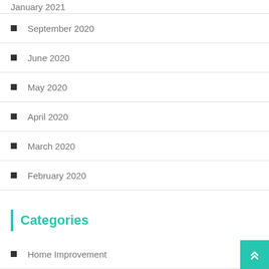January 2021
September 2020
June 2020
May 2020
April 2020
March 2020
February 2020
Categories
Home Improvement
Interior Design